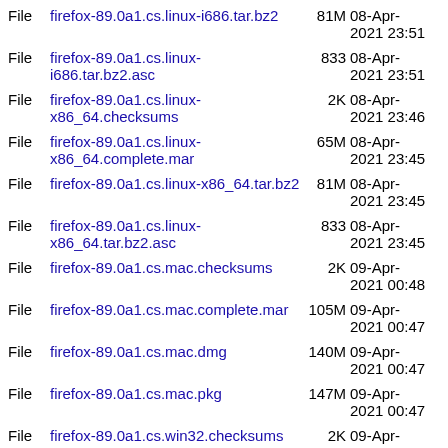File firefox-89.0a1.cs.linux-i686.tar.bz2 81M 08-Apr-2021 23:51
File firefox-89.0a1.cs.linux-i686.tar.bz2.asc 833 08-Apr-2021 23:51
File firefox-89.0a1.cs.linux-x86_64.checksums 2K 08-Apr-2021 23:46
File firefox-89.0a1.cs.linux-x86_64.complete.mar 65M 08-Apr-2021 23:45
File firefox-89.0a1.cs.linux-x86_64.tar.bz2 81M 08-Apr-2021 23:45
File firefox-89.0a1.cs.linux-x86_64.tar.bz2.asc 833 08-Apr-2021 23:45
File firefox-89.0a1.cs.mac.checksums 2K 09-Apr-2021 00:48
File firefox-89.0a1.cs.mac.complete.mar 105M 09-Apr-2021 00:47
File firefox-89.0a1.cs.mac.dmg 140M 09-Apr-2021 00:47
File firefox-89.0a1.cs.mac.pkg 147M 09-Apr-2021 00:47
File firefox-89.0a1.cs.win32.checksums 2K 09-Apr-2021 00:11
File firefox-89.0a1.cs... 09-Apr-